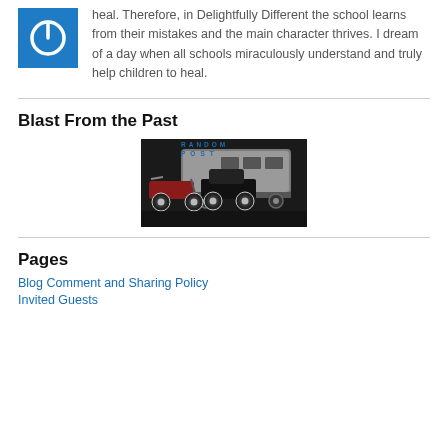[Figure (logo): Blue square icon with a white power button symbol]
heal. Therefore, in Delightfully Different the school learns from their mistakes and the main character thrives. I dream of a day when all schools miraculously understand and truly help children to heal.
Blast From the Past
[Figure (photo): Photo showing vintage motorcycle and old car parked in front of a silver trailer/bus with 'RANDOM POST' text overlay]
Pages
Blog Comment and Sharing Policy
Invited Guests